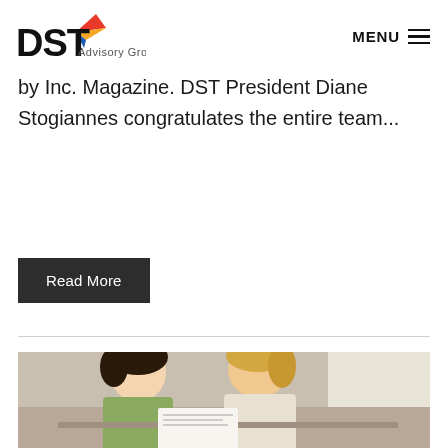DST Advisory Group — MENU
by Inc. Magazine. DST President Diane Stogiannes congratulates the entire team...
Read More
[Figure (photo): Two women collaborating, looking at something together in an office or workspace setting]